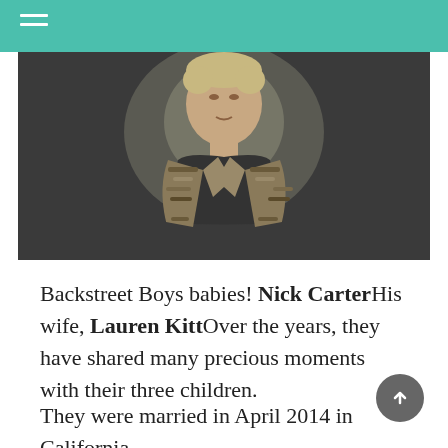[Figure (photo): Man wearing a floral/camouflage patterned jacket over a dark shirt, photographed against a dark background on a stage or event setting.]
Backstreet Boys babies! Nick CarterHis wife, Lauren KittOver the years, they have shared many precious moments with their three children.
They were married in April 2014 in California. They were later they welcomed their son...